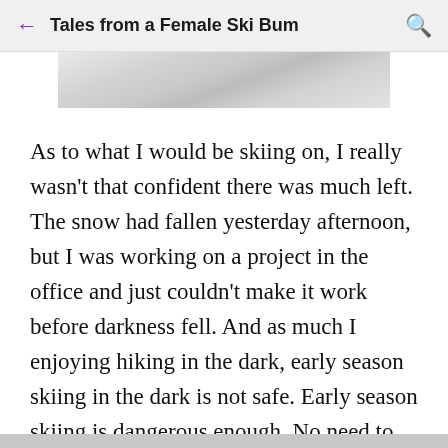Tales from a Female Ski Bum
[Figure (photo): Partial view of a snow/marble texture image, cropped at the top]
As to what I would be skiing on, I really wasn't that confident there was much left.  The snow had fallen yesterday afternoon, but I was working on a project in the office and just couldn't make it work before darkness fell.  And as much I enjoying hiking in the dark, early season skiing in the dark is not safe.  Early season skiing is dangerous enough.  No need to add limited visibility.